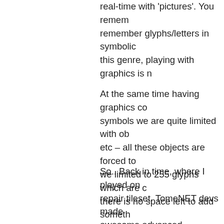real-time with 'pictures'. You remember glyphs/letters in symbolic this genre, playing with graphics is n
At the same time having graphics co symbols we are quite limited with ob etc – all these objects are forced to we limited to 255 glyphs which are c there is no space left to add someth Proper graphical tileset removes this
So.. Back in time, where I played on repair tileset. TomeNET devs made awesome advanced music/sound sy unfortunately no one was interested at stern Linux terminals 🙂 So even TomeNET devs considering 'Soloist' a try to play PWMA and was amaze actually PWMA had 10+ tilesets incl